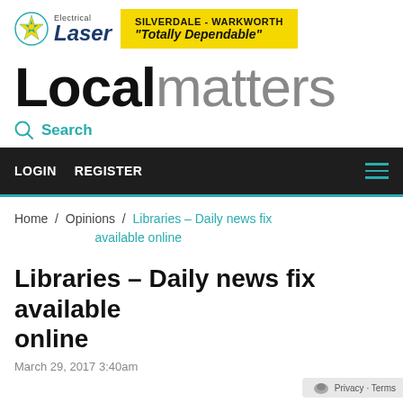[Figure (logo): Laser Electrical logo with star emblem and yellow ad box reading SILVERDALE - WARKWORTH Totally Dependable]
Localmatters
Search
LOGIN   REGISTER
Home / Opinions / Libraries – Daily news fix available online
Libraries – Daily news fix available online
March 29, 2017 3:40am